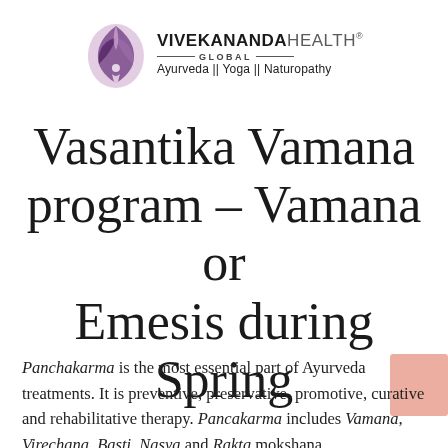[Figure (logo): Vivekananda Health Global logo with lotus/droplet icon and text: VIVEKANANDAHEALTH® — GLOBAL — Ayurveda || Yoga || Naturopathy]
Vasantika Vamana program – Vamana or Emesis during Spring
Panchakarma is the most essential part of Ayurveda treatments. It is preventive, preservative, promotive, curative and rehabilitative therapy. Pancakarma includes Vamana, Virechana, Basti, Nasya and Rakta mokshana